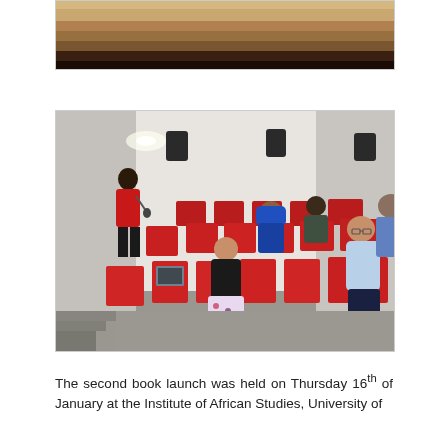[Figure (photo): Partial photo at top of page showing a wooden surface or shelf, cropped.]
[Figure (photo): Photo of a small auditorium or lecture hall with red seats. A man in a red shirt stands speaking into a microphone at the front left. Several attendees are seated in the red chairs, including a woman in a black outfit in the foreground, a woman in a blue hijab, and a woman in a light blue jacket on the right. The room has grey textured walls with wall-mounted speakers and recessed lighting.]
The second book launch was held on Thursday 16th of January at the Institute of African Studies, University of